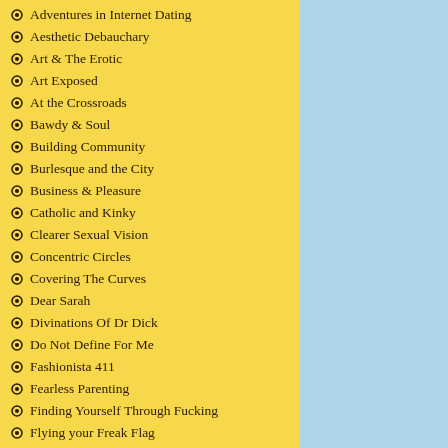Adventures in Internet Dating
Aesthetic Debauchary
Art & The Erotic
Art Exposed
At the Crossroads
Bawdy & Soul
Building Community
Burlesque and the City
Business & Pleasure
Catholic and Kinky
Clearer Sexual Vision
Concentric Circles
Covering The Curves
Dear Sarah
Divinations Of Dr Dick
Do Not Define For Me
Fashionista 411
Fearless Parenting
Finding Yourself Through Fucking
Flying your Freak Flag
Fucking Forever
Genderation of Style
Hedonistic Dandy